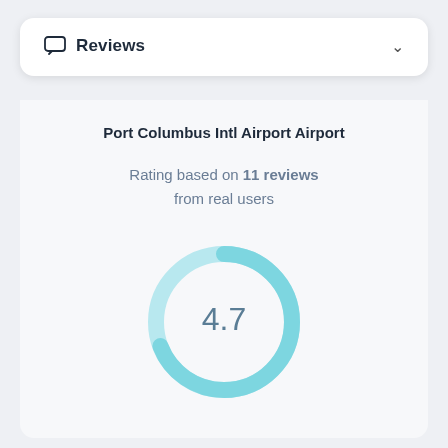Reviews
Port Columbus Intl Airport Airport
Rating based on 11 reviews from real users
[Figure (donut-chart): Rating 4.7]